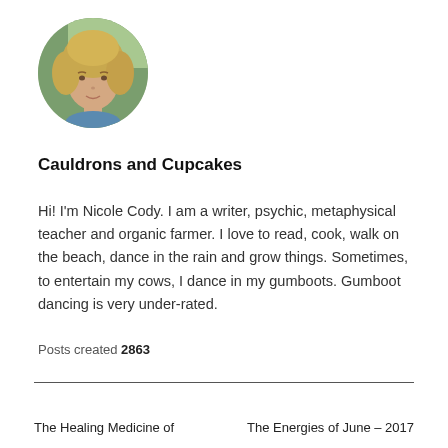[Figure (photo): Circular profile photo of a woman with curly blonde hair, outdoors with green foliage background]
Cauldrons and Cupcakes
Hi! I'm Nicole Cody. I am a writer, psychic, metaphysical teacher and organic farmer. I love to read, cook, walk on the beach, dance in the rain and grow things. Sometimes, to entertain my cows, I dance in my gumboots. Gumboot dancing is very under-rated.
Posts created 2863
← PREVIOUS ARTICLE   The Healing Medicine of    NEXT ARTICLE →   The Energies of June – 2017